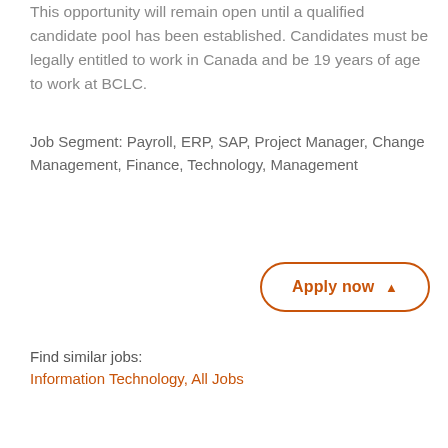This opportunity will remain open until a qualified candidate pool has been established. Candidates must be legally entitled to work in Canada and be 19 years of age to work at BCLC.
Job Segment: Payroll, ERP, SAP, Project Manager, Change Management, Finance, Technology, Management
Apply now ▲
Find similar jobs:
Information Technology, All Jobs